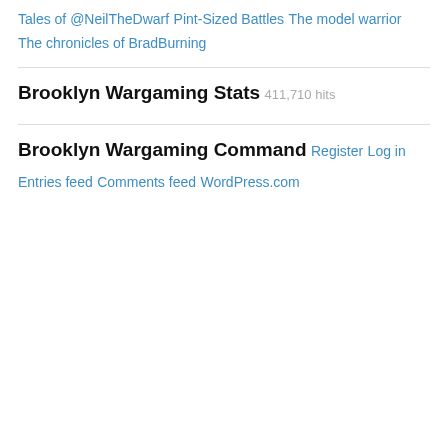Tales of @NeilTheDwarf
Pint-Sized Battles
The model warrior
The chronicles of BradBurning
Brooklyn Wargaming Stats
411,710 hits
Brooklyn Wargaming Command
Register
Log in
Entries feed
Comments feed
WordPress.com